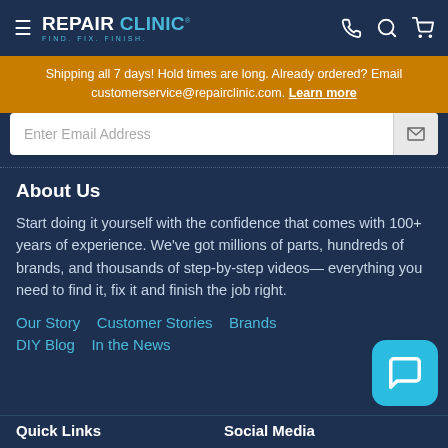REPAIR CLINIC - FIND. FIX. FINISH.
Shipping all 7 days! Hold times are long. Already ordered? Email customerservice@repairclinic.com. Learn more
Enter Email Address
About Us
Start doing it yourself with the confidence that comes with 100+ years of experience. We've got millions of parts, hundreds of brands, and thousands of step-by-step videos— everything you need to find it, fix it and finish the job right.
Our Story
Customer Stories
Brands
DIY Blog
In the News
Quick Links
Social Media